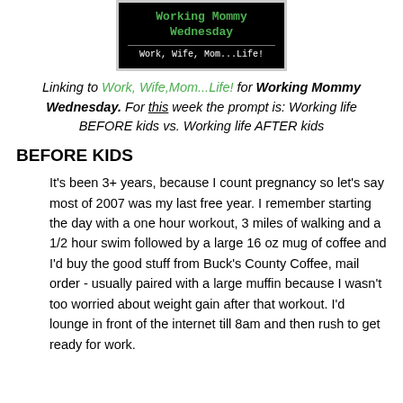[Figure (illustration): Blog logo image for 'Working Mommy Wednesday' — black background with green text reading 'Working Mommy Wednesday' and white subtitle text 'Work, Wife, Mom...Life!']
Linking to Work, Wife,Mom...Life! for Working Mommy Wednesday. For this week the prompt is: Working life BEFORE kids vs. Working life AFTER kids
BEFORE KIDS
It's been 3+ years, because I count pregnancy so let's say most of 2007 was my last free year. I remember starting the day with a one hour workout, 3 miles of walking and a 1/2 hour swim followed by a large 16 oz mug of coffee and I'd buy the good stuff from Buck's County Coffee, mail order - usually paired with a large muffin because I wasn't too worried about weight gain after that workout. I'd lounge in front of the internet till 8am and then rush to get ready for work.